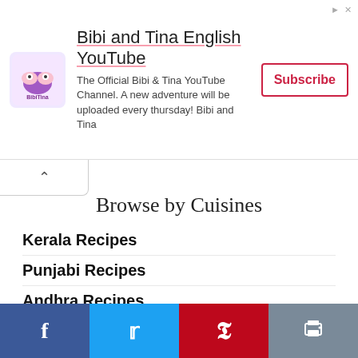[Figure (infographic): Advertisement banner for Bibi and Tina English YouTube channel with logo, description text, and Subscribe button]
Browse by Cuisines
Kerala Recipes
Punjabi Recipes
Andhra Recipes
Gujarathi Recipes
Maharashtrian
Tamil Brahmin Recipes
Karnataka
International
Indo Chinese Recipes
[Figure (infographic): Social sharing bar with Facebook, Twitter, Pinterest, and Print buttons]